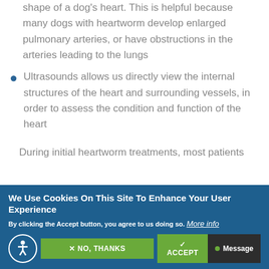shape of a dog's heart. This is helpful because many dogs with heartworm develop enlarged pulmonary arteries, or have obstructions in the arteries leading to the lungs
Ultrasounds allows us directly view the internal structures of the heart and surrounding vessels, in order to assess the condition and function of the heart
During initial heartworm treatments, most patients
We Use Cookies On This Site To Enhance Your User Experience
By clicking the Accept button, you agree to us doing so. More info